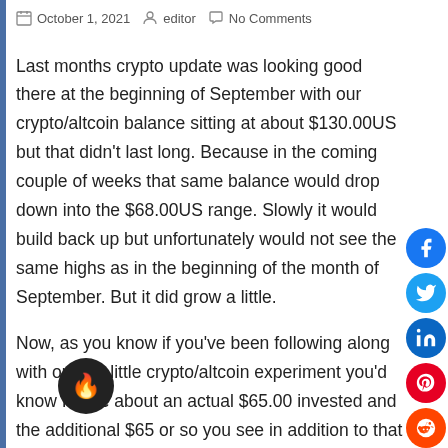October 1, 2021 · editor · No Comments
Last months crypto update was looking good there at the beginning of September with our crypto/altcoin balance sitting at about $130.00US but that didn't last long. Because in the coming couple of weeks that same balance would drop down into the $68.00US range. Slowly it would build back up but unfortunately would not see the same highs as in the beginning of the month of September. But it did grow a little.
Now, as you know if you've been following along with our/my little crypto/altcoin experiment you'd know I have about an actual $65.00 invested and the additional $65 or so you see in addition to that has come from the crypto altcoin market fluctuations as well as the free learning crypto you get from Coinbase when you sign up for an account. So the market has been decent plus the $41US